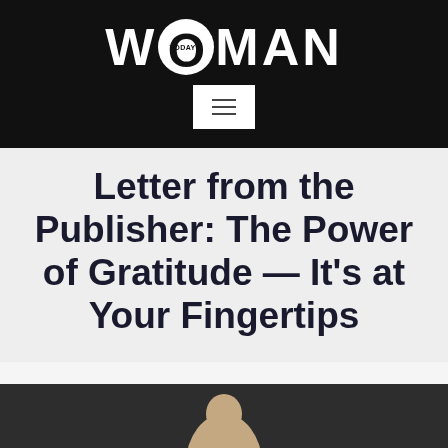TODAY'S WOMAN
Letter from the Publisher: The Power of Gratitude — It's at Your Fingertips
[Figure (photo): Partial photo of a woman against a dark grey background, cropped at bottom of page]